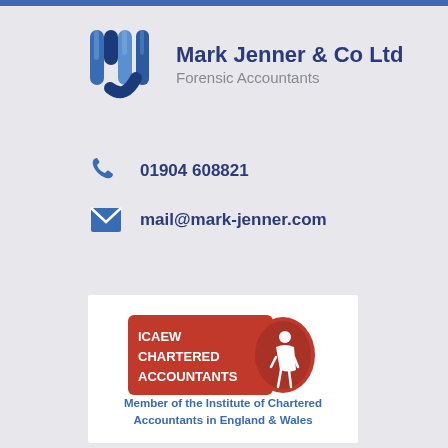[Figure (logo): Mark Jenner & Co Ltd Forensic Accountants logo with MJ monogram in blue]
Mark Jenner & Co Ltd
Forensic Accountants
01904 608821
mail@mark-jenner.com
[Figure (logo): ICAEW Chartered Accountants logo in red with figure]
Member of the Institute of Chartered Accountants in England & Wales